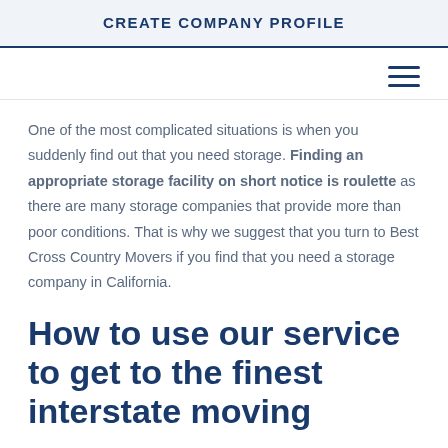CREATE COMPANY PROFILE
One of the most complicated situations is when you suddenly find out that you need storage. Finding an appropriate storage facility on short notice is roulette as there are many storage companies that provide more than poor conditions. That is why we suggest that you turn to Best Cross Country Movers if you find that you need a storage company in California.
How to use our service to get to the finest interstate moving